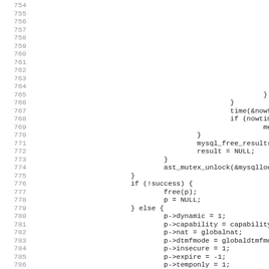Source code listing lines 754-786 (C code snippet with line numbers)